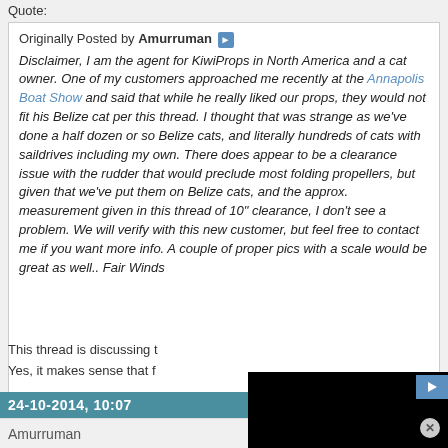Quote:
Originally Posted by Amurruman
Disclaimer, I am the agent for KiwiProps in North America and a cat owner. One of my customers approached me recently at the Annapolis Boat Show and said that while he really liked our props, they would not fit his Belize cat per this thread. I thought that was strange as we've done a half dozen or so Belize cats, and literally hundreds of cats with saildrives including my own. There does appear to be a clearance issue with the rudder that would preclude most folding propellers, but given that we've put them on Belize cats, and the approx. measurement given in this thread of 10" clearance, I don't see a problem. We will verify with this new customer, but feel free to contact me if you want more info. A couple of proper pics with a scale would be great as well.. Fair Winds
[Figure (screenshot): Black video player overlay]
This thread is discussing t
Yes, it makes sense that f
24-10-2014, 10:07
Amurruman
Join Date: Oct 20
Location: Toronto